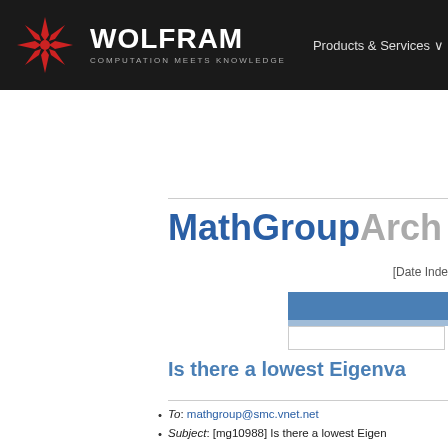WOLFRAM COMPUTATION MEETS KNOWLEDGE | Products & Services
[Figure (logo): Wolfram logo: red star/snowflake icon with WOLFRAM in white bold text and COMPUTATION MEETS KNOWLEDGE tagline in gray]
MathGroupArchive
[Date Inde...
Is there a lowest Eigenva...
To: mathgroup@smc.vnet.net
Subject: [mg10988] Is there a lowest Eigen...